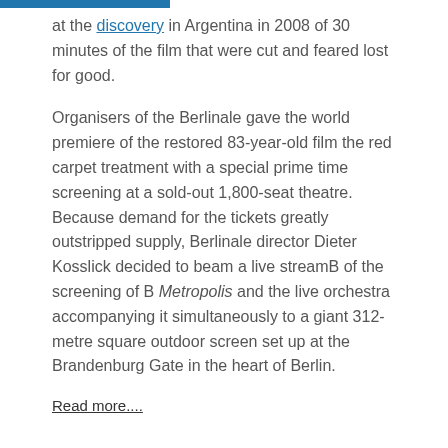at the discovery in Argentina in 2008 of 30 minutes of the film that were cut and feared lost for good.
Organisers of the Berlinale gave the world premiere of the restored 83-year-old film the red carpet treatment with a special prime time screening at a sold-out 1,800-seat theatre. Because demand for the tickets greatly outstripped supply, Berlinale director Dieter Kosslick decided to beam a live streamB of the screening of B Metropolis and the live orchestra accompanying it simultaneously to a giant 312-metre square outdoor screen set up at the Brandenburg Gate in the heart of Berlin.
Read more....
[Figure (infographic): Social sharing buttons: SHARE (Facebook), TWEET (Twitter), PIN IT (Pinterest)]
JOIN OUR MAILING LIST